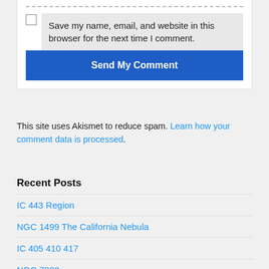Save my name, email, and website in this browser for the next time I comment.
Send My Comment
This site uses Akismet to reduce spam. Learn how your comment data is processed.
Recent Posts
IC 443 Region
NGC 1499 The California Nebula
IC 405 410 417
NGC 7822
Tulip Nebula Region